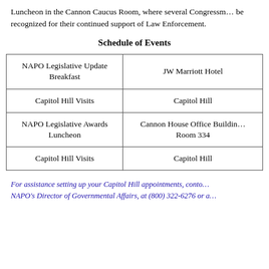Luncheon in the Cannon Caucus Room, where several Congressm… be recognized for their continued support of Law Enforcement.
Schedule of Events
| NAPO Legislative Update Breakfast | JW Marriott Hotel |
| Capitol Hill Visits | Capitol Hill |
| NAPO Legislative Awards Luncheon | Cannon House Office Building Room 334 |
| Capitol Hill Visits | Capitol Hill |
For assistance setting up your Capitol Hill appointments, conta… NAPO's Director of Governmental Affairs, at (800) 322-6276 or a…